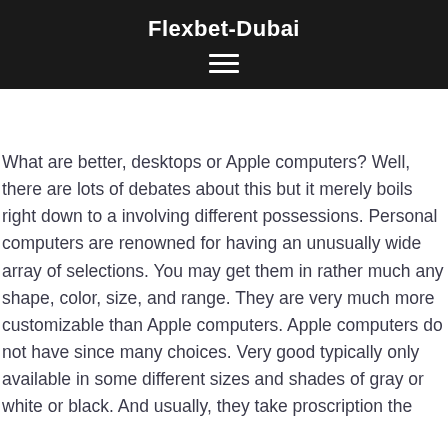Flexbet-Dubai
[Figure (illustration): Hamburger menu icon (three horizontal white lines on dark background)]
What are better, desktops or Apple computers? Well, there are lots of debates about this but it merely boils right down to a involving different possessions. Personal computers are renowned for having an unusually wide array of selections. You may get them in rather much any shape, color, size, and range. They are very much more customizable than Apple computers. Apple computers do not have since many choices. Very good typically only available in some different sizes and shades of gray or white or black. And usually, they take proscription the